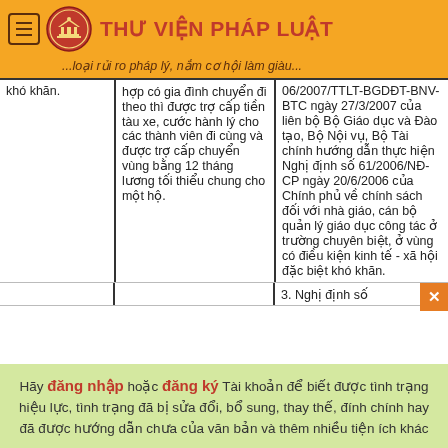THƯ VIỆN PHÁP LUẬT
...loại rủi ro pháp lý, nắm cơ hội làm giàu...
| khó khăn. | hợp có gia đình chuyển đi theo thì được trợ cấp tiền tàu xe, cước hành lý cho các thành viên đi cùng và được trợ cấp chuyển vùng bằng 12 tháng lương tối thiểu chung cho một hộ. | 06/2007/TTLT-BGDĐT-BNV-BTC ngày 27/3/2007 của liên bộ Bộ Giáo dục và Đào tạo, Bộ Nội vụ, Bộ Tài chính hướng dẫn thực hiện Nghị định số 61/2006/NĐ-CP ngày 20/6/2006 của Chính phủ về chính sách đối với nhà giáo, cán bộ quản lý giáo dục công tác ở trường chuyên biệt, ở vùng có điều kiện kinh tế - xã hội đặc biệt khó khăn. |
3. Nghị định số
Hãy đăng nhập hoặc đăng ký Tài khoản để biết được tình trạng hiệu lực, tình trạng đã bị sửa đổi, bổ sung, thay thế, đính chính hay đã được hướng dẫn chưa của văn bản và thêm nhiều tiện ích khác